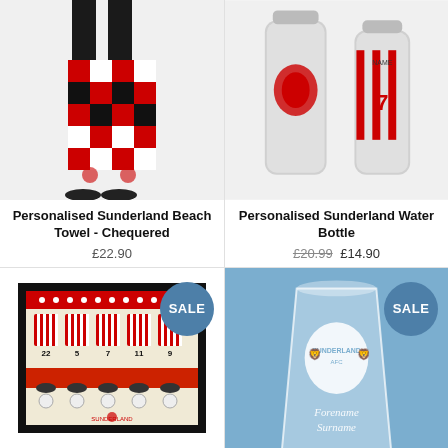[Figure (photo): Personalised Sunderland Beach Towel - Chequered product photo, red/black/white checkered towel]
Personalised Sunderland Beach Towel - Chequered
£22.90
[Figure (photo): Personalised Sunderland Water Bottle product photo, silver/metal water bottles with Sunderland AFC crest and number 7]
Personalised Sunderland Water Bottle
£20.99 £14.90
[Figure (photo): Personalised Sunderland AFC Dressing Room Framed photo print showing numbered shirts in dressing room, with SALE badge]
Personalised Sunderland AFC Dressing Room Framed
[Figure (photo): Personalised Sunderland AFC Pint Glass with club crest and Forename Surname engraving on blue background, with SALE badge]
Personalised Sunderland AFC Pint Glass